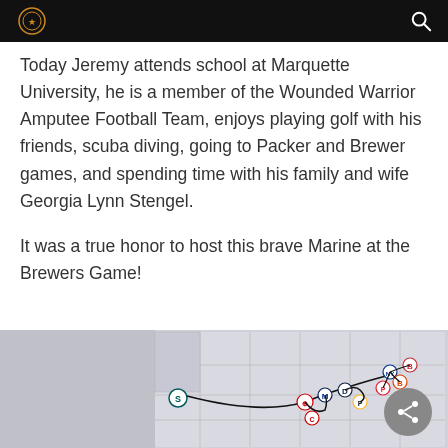[Logo] [Search icon]
Today Jeremy attends school at Marquette University, he is a member of the Wounded Warrior Amputee Football Team, enjoys playing golf with his friends, scuba diving, going to Packer and Brewer games, and spending time with his family and wife Georgia Lynn Stengel.
It was a true honor to host this brave Marine at the Brewers Game!
[Figure (map): Partial map of the United States with MLB team logos connected by lines overlaid on state boundaries.]